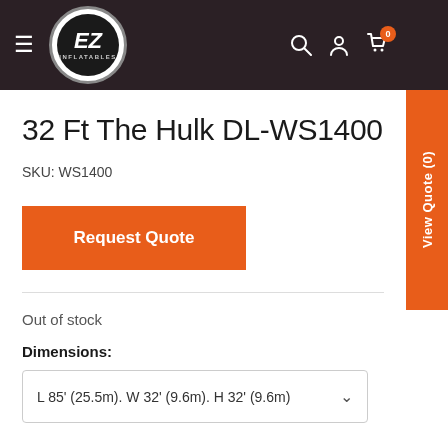EZ Inflatables — navigation header with logo, search, account, cart (0), View Quote (0)
32 Ft The Hulk DL-WS1400
SKU: WS1400
Request Quote
Out of stock
Dimensions:
L 85' (25.5m). W 32' (9.6m). H 32' (9.6m)